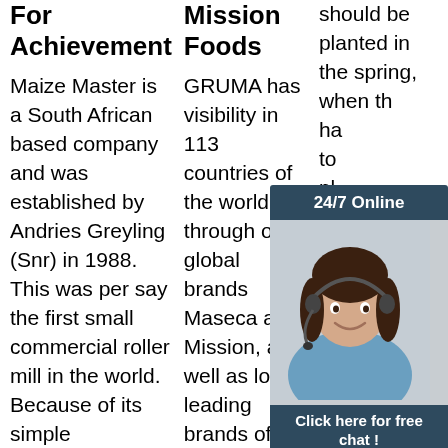For Achievement
Maize Master is a South African based company and was established by Andries Greyling (Snr) in 1988. This was per say the first small commercial roller mill in the world. Because of its simple
Mission Foods
GRUMA has visibility in 113 countries of the world through our global brands Maseca and Mission, as well as local leading brands of the markets that we participate: Guerrero in the United States, TortiRicas and
should be planted in the spring, when th ha to pl sc wi ge wi gr in rows about 6" apart and rows between 24" to 36" apart
[Figure (photo): Chat widget overlay showing a woman with headset, dark header with 24/7 Online text, click here for free chat CTA, and orange QUOTATION button]